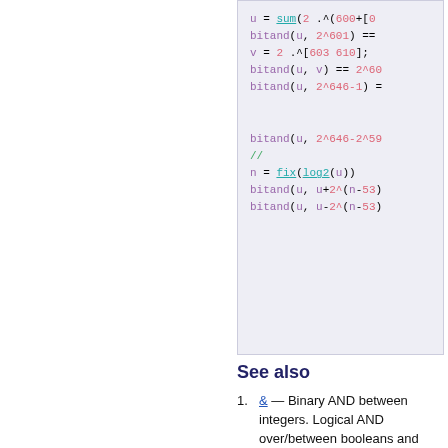[Figure (screenshot): Code snippet showing MATLAB/Octave style code with colored syntax: u = sum(2 .^(600+[0 bitand(u, 2^601) == v = 2 .^[603 610]; bitand(u, v) == 2^60 bitand(u, 2^646-1) = [gap] bitand(u, 2^646-2^59 // n = fix(log2(u)) bitand(u, u+2^(n-53) bitand(u, u-2^(n-53)]
See also
& — Binary AND between integers. Logical AND over/between booleans and numbers